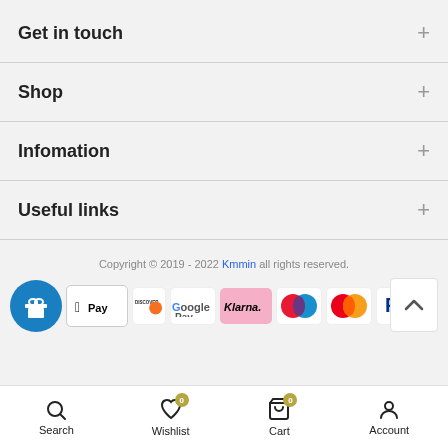Get in touch
Shop
Infomation
Useful links
Copyright © 2019 - 2022 Kmmin all rights reserved.
[Figure (screenshot): Row of payment method icons: gift button, Apple Pay, Discover, Google Pay, Klarna, Maestro, Mastercard, PayPal, Stripe, and a scroll-to-top button]
Search  Wishlist 0  Cart 0  Account